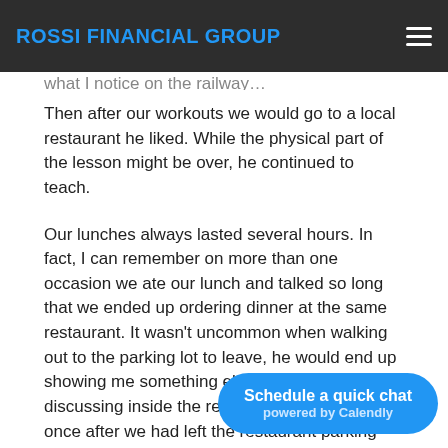ROSSI FINANCIAL GROUP
Then after our workouts we would go to a local restaurant he liked. While the physical part of the lesson might be over, he continued to teach.
Our lunches always lasted several hours. In fact, I can remember on more than one occasion we ate our lunch and talked so long that we ended up ordering dinner at the same restaurant. It wasn't uncommon when walking out to the parking lot to leave, he would end up showing me something else we were discussing inside the restaurant. More than once after we had left the restaurant parking lot, I would get a phone call from Ken on my way home so he could continue his thoughts on what we were discussing. It wasn't unusual for me to show up at his place in the morning and get home almost 12 hours later.
Schedule a quick chat powered by Calendly